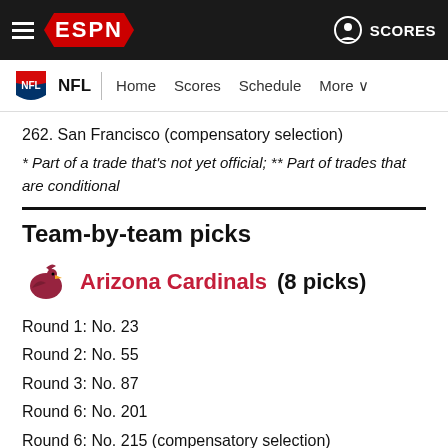ESPN — NFL | Home  Scores  Schedule  More  SCORES
262. San Francisco (compensatory selection)
* Part of a trade that's not yet official; ** Part of trades that are conditional
Team-by-team picks
Arizona Cardinals (8 picks)
Round 1: No. 23
Round 2: No. 55
Round 3: No. 87
Round 6: No. 201
Round 6: No. 215 (compensatory selection)